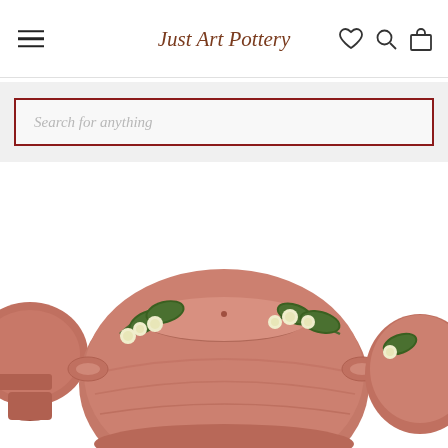Just Art Pottery
Search for anything
[Figure (photo): Three pieces of pink/mauve art pottery with white flower and green leaf decorations in relief. The center piece is a large round bowl/planter with handles, decorated with white blossoms and green leaves on branches. Partial pieces visible on left and right edges.]